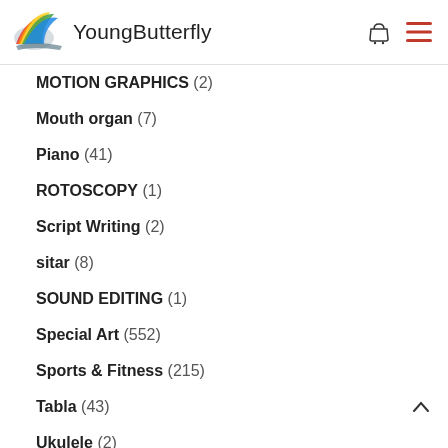YoungButterfly
MOTION GRAPHICS (2)
Mouth organ (7)
Piano (41)
ROTOSCOPY (1)
Script Writing (2)
sitar (8)
SOUND EDITING (1)
Special Art (552)
Sports & Fitness (215)
Tabla (43)
Ukulele (2)
Uncategorized (6)